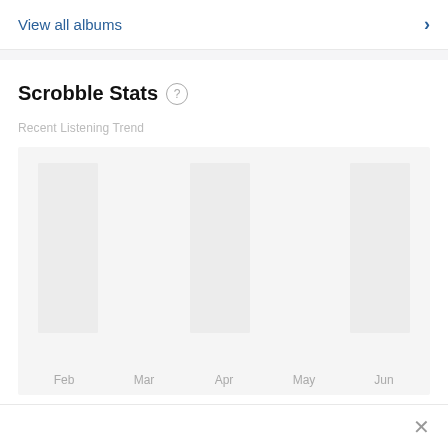View all albums >
Scrobble Stats
Recent Listening Trend
[Figure (bar-chart): Bar chart with gray placeholder bars for Feb, Mar, Apr, May, Jun — no data values visible]
Upcoming Events